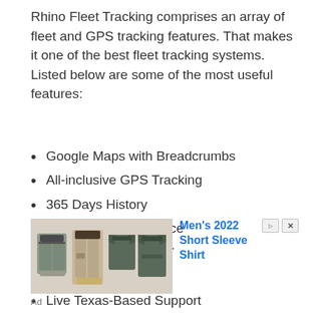Rhino Fleet Tracking comprises an array of fleet and GPS tracking features. That makes it one of the best fleet tracking systems. Listed below are some of the most useful features:
Google Maps with Breadcrumbs
All-inclusive GPS Tracking
365 Days History
Driver Hours of Service
Miles-by-State for IFT
Service Records
Live Texas-Based Support
Live Location Updates
[Figure (photo): Advertisement showing men's clothing including shorts, cargo pants, polo shirts. Text reads Men's 2022 Short Sleeve Shirt.]
Ad